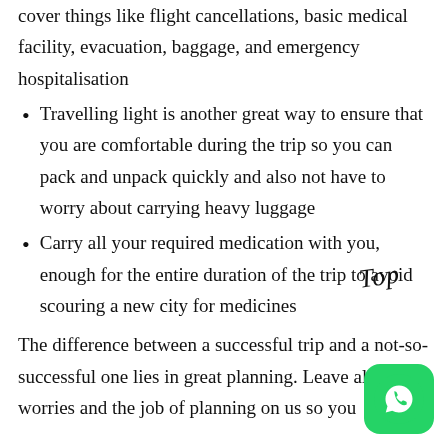cover things like flight cancellations, basic medical facility, evacuation, baggage, and emergency hospitalisation
Travelling light is another great way to ensure that you are comfortable during the trip so you can pack and unpack quickly and also not have to worry about carrying heavy luggage
Carry all your required medication with you, enough for the entire duration of the trip to avoid scouring a new city for medicines
The difference between a successful trip and a not-so-successful one lies in great planning. Leave all your worries and the job of planning on us so you